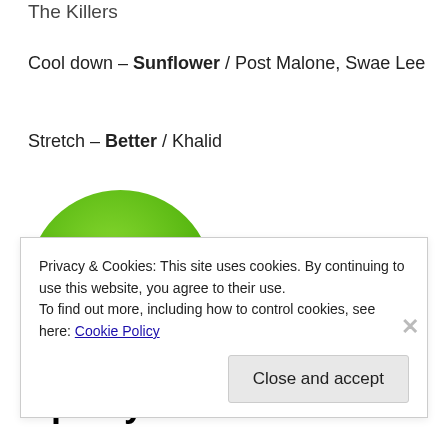The Killers
Cool down – Sunflower / Post Malone, Swae Lee
Stretch – Better / Khalid
[Figure (logo): Spotify logo: green circle with three white curved sound wave stripes, with the word 'Spotify' and registered trademark symbol below in black bold text]
Privacy & Cookies: This site uses cookies. By continuing to use this website, you agree to their use.
To find out more, including how to control cookies, see here: Cookie Policy
Close and accept